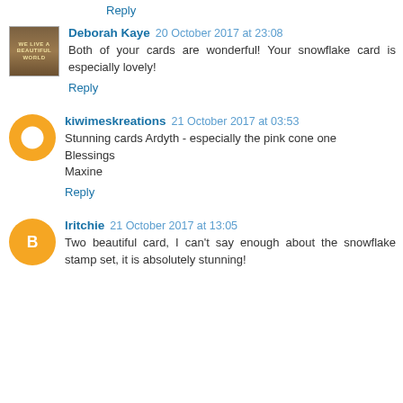Reply
Deborah Kaye  20 October 2017 at 23:08
Both of your cards are wonderful! Your snowflake card is especially lovely!
Reply
kiwimeskreations  21 October 2017 at 03:53
Stunning cards Ardyth - especially the pink cone one
Blessings
Maxine
Reply
lritchie  21 October 2017 at 13:05
Two beautiful card, I can't say enough about the snowflake stamp set, it is absolutely stunning!